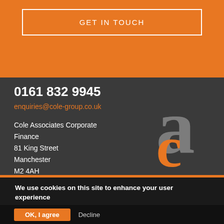GET IN TOUCH
0161 832 9945
enquiries@cole-group.co.uk
Cole Associates Corporate Finance
81 King Street
Manchester
M2 4AH
[Figure (logo): Cole Associates Corporate Finance logo — grey letter 'a' with orange letter 'c' overlapping]
We use cookies on this site to enhance your user experience
By clicking any link on this page you are giving your consent for us to set cookies. More info
OK, I agree  Decline